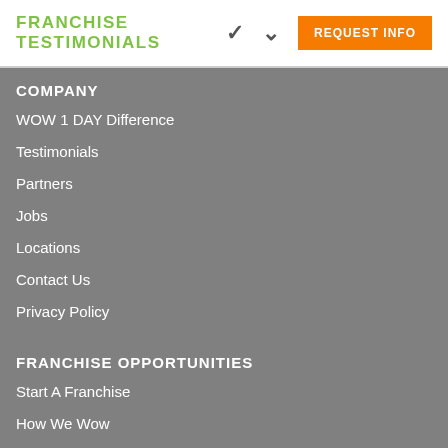FRANCHISE TESTIMONIALS
COMPANY
WOW 1 DAY Difference
Testimonials
Partners
Jobs
Locations
Contact Us
Privacy Policy
FRANCHISE OPPORTUNITIES
Start A Franchise
How We Wow
Investment
The Process
Testimonials
Request Info